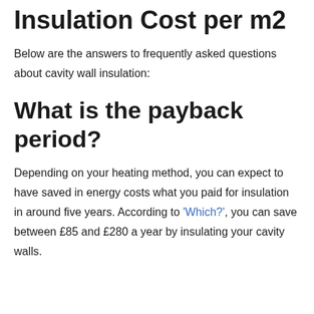Insulation Cost per m2
Below are the answers to frequently asked questions about cavity wall insulation:
What is the payback period?
Depending on your heating method, you can expect to have saved in energy costs what you paid for insulation in around five years. According to 'Which?', you can save between £85 and £280 a year by insulating your cavity walls.